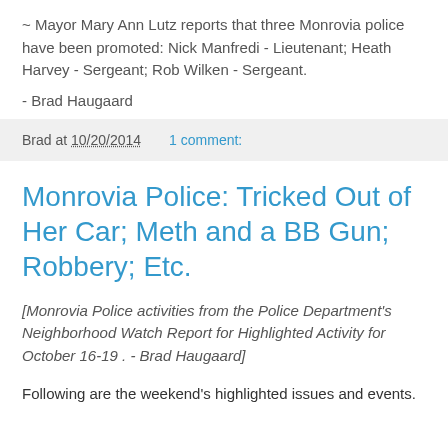~ Mayor Mary Ann Lutz reports that three Monrovia police have been promoted: Nick Manfredi - Lieutenant; Heath Harvey - Sergeant; Rob Wilken - Sergeant.
- Brad Haugaard
Brad at 10/20/2014    1 comment:
Monrovia Police: Tricked Out of Her Car; Meth and a BB Gun; Robbery; Etc.
[Monrovia Police activities from the Police Department's Neighborhood Watch Report for Highlighted Activity for October 16-19 . - Brad Haugaard]
Following are the weekend's highlighted issues and events.